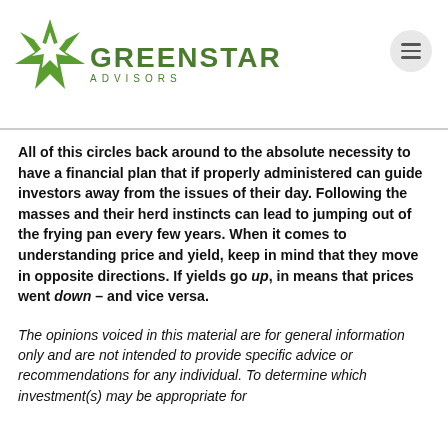[Figure (logo): GreenStar Advisors logo with green star graphic and company name]
All of this circles back around to the absolute necessity to have a financial plan that if properly administered can guide investors away from the issues of their day. Following the masses and their herd instincts can lead to jumping out of the frying pan every few years. When it comes to understanding price and yield, keep in mind that they move in opposite directions. If yields go up, in means that prices went down – and vice versa.
The opinions voiced in this material are for general information only and are not intended to provide specific advice or recommendations for any individual. To determine which investment(s) may be appropriate for